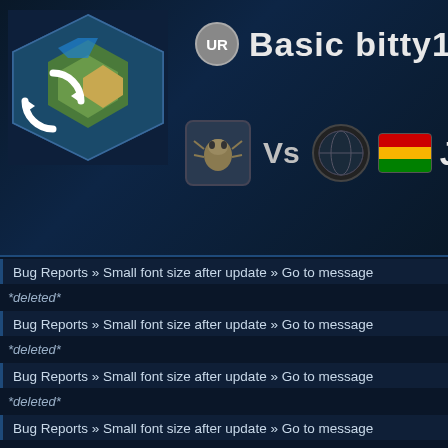[Figure (screenshot): Game header showing hexagonal map thumbnail with refresh icon, UR badge, title 'Basic bitty16683...', and VS matchup row with player icons, globe icon, flag icon, and 'Jef...' player name]
Bug Reports » Small font size after update » Go to message
*deleted*
Bug Reports » Small font size after update » Go to message
*deleted*
Bug Reports » Small font size after update » Go to message
*deleted*
Bug Reports » Small font size after update » Go to message
I am fairly sure this happened after an android update. The font size is about 50%
Bug Reports » Bug bounty: find a new bug and receive uni-coins » Go to messa...
Post a new message. Also archive the game, or better don't move in it. Grab scre...
Bug Reports » Peace offering not requested » Go to message
That is not right. The default is to reject peace. If you have the game ids still in yo...